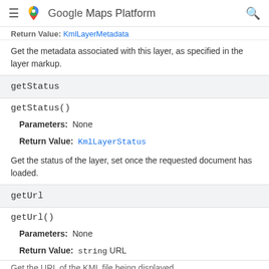Google Maps Platform
Return Value: KmlLayerMetadata
Get the metadata associated with this layer, as specified in the layer markup.
getStatus
getStatus()
Parameters: None
Return Value: KmlLayerStatus
Get the status of the layer, set once the requested document has loaded.
getUrl
getUrl()
Parameters: None
Return Value: string URL
Get the URL of the KML file being displayed...